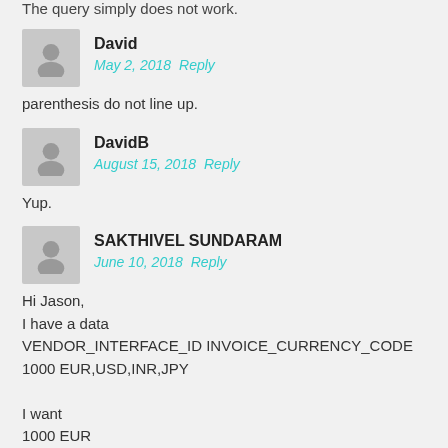The query simply does not work.
David
May 2, 2018   Reply
parenthesis do not line up.
DavidB
August 15, 2018   Reply
Yup.
SAKTHIVEL SUNDARAM
June 10, 2018   Reply
Hi Jason,
I have a data
VENDOR_INTERFACE_ID INVOICE_CURRENCY_CODE
1000 EUR,USD,INR,JPY

I want
1000 EUR